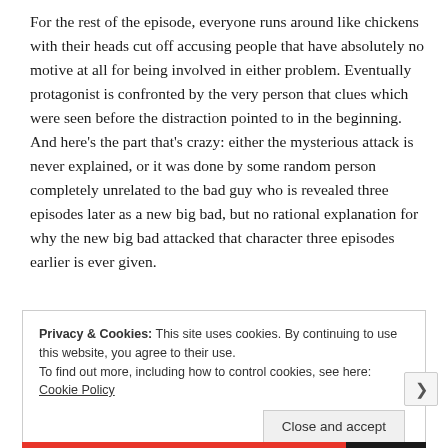For the rest of the episode, everyone runs around like chickens with their heads cut off accusing people that have absolutely no motive at all for being involved in either problem. Eventually protagonist is confronted by the very person that clues which were seen before the distraction pointed to in the beginning. And here's the part that's crazy: either the mysterious attack is never explained, or it was done by some random person completely unrelated to the bad guy who is revealed three episodes later as a new big bad, but no rational explanation for why the new big bad attacked that character three episodes earlier is ever given.
Privacy & Cookies: This site uses cookies. By continuing to use this website, you agree to their use. To find out more, including how to control cookies, see here: Cookie Policy
Close and accept